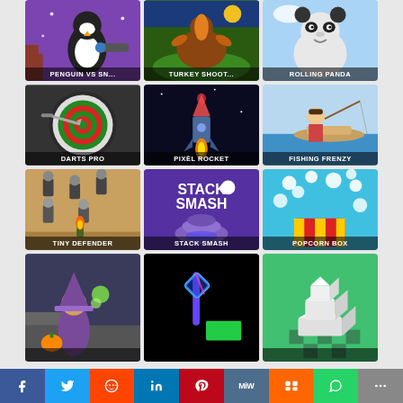[Figure (screenshot): Grid of online game thumbnails: Row 1 - Penguin vs Sn..., Turkey Shoot..., Rolling Panda; Row 2 - Darts Pro, Pixel Rocket, Fishing Frenzy; Row 3 - Tiny Defender, Stack Smash, Popcorn Box; Row 4 - partial wizard game, neon game, cube game]
Social share bar: Facebook, Twitter, Reddit, LinkedIn, Pinterest, MeWe, Mix, WhatsApp, More